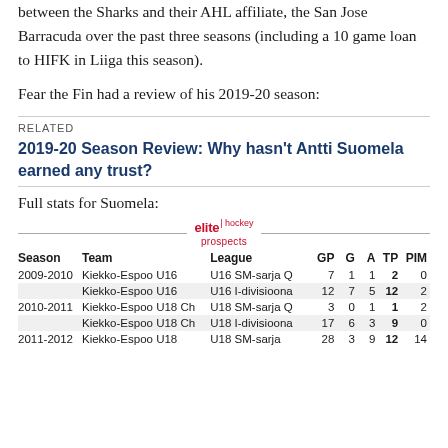between the Sharks and their AHL affiliate, the San Jose Barracuda over the past three seasons (including a 10 game loan to HIFK in Liiga this season).
Fear the Fin had a review of his 2019-20 season:
RELATED
2019-20 Season Review: Why hasn't Antti Suomela earned any trust?
Full stats for Suomela:
[Figure (logo): Elite Hockey Prospects logo with decorative lines on each side]
| Season | Team | League | GP | G | A | TP | PIM |
| --- | --- | --- | --- | --- | --- | --- | --- |
| 2009-2010 | Kiekko-Espoo U16 | U16 SM-sarja Q | 7 | 1 | 1 | 2 | 0 |
|  | Kiekko-Espoo U16 | U16 I-divisioona | 12 | 7 | 5 | 12 | 2 |
| 2010-2011 | Kiekko-Espoo U18 Ch | U18 SM-sarja Q | 3 | 0 | 1 | 1 | 2 |
|  | Kiekko-Espoo U18 Ch | U18 I-divisioona | 17 | 6 | 3 | 9 | 0 |
| 2011-2012 | Kiekko-Espoo U18 | U18 SM-sarja | 28 | 3 | 9 | 12 | 14 |